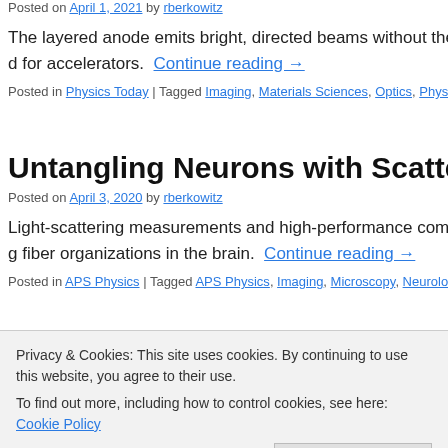Posted on April 1, 2021 by rberkowitz
The layered anode emits bright, directed beams without the need for accelerators. Continue reading →
Posted in Physics Today | Tagged Imaging, Materials Sciences, Optics, Physi…
Untangling Neurons with Scattered Light
Posted on April 3, 2020 by rberkowitz
Light-scattering measurements and high-performance computing fiber organizations in the brain. Continue reading →
Posted in APS Physics | Tagged APS Physics, Imaging, Microscopy, Neurolo…
Privacy & Cookies: This site uses cookies. By continuing to use this website, you agree to their use.
To find out more, including how to control cookies, see here: Cookie Policy
Close and accept
Enhancing biological and renewable energy research by develo…